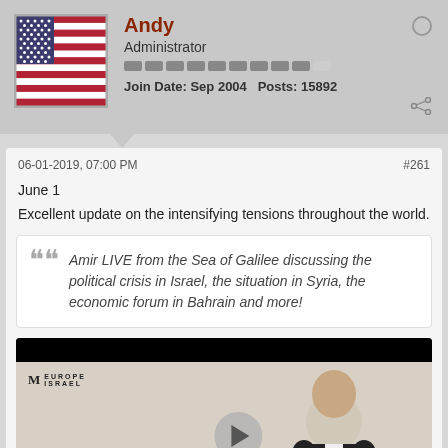[Figure (photo): Forum post profile header with US flag avatar, username Andy, Administrator role, reputation bar, join date Sep 2004, posts 15892]
06-01-2019, 07:00 PM
#261
June 1
Excellent update on the intensifying tensions throughout the world.
Amir LIVE from the Sea of Galilee discussing the political crisis in Israel, the situation in Syria, the economic forum in Bahrain and more!
[Figure (screenshot): Video thumbnail for Middle East Update by Amir Tsarfati, showing man in dark suit with play button overlay]